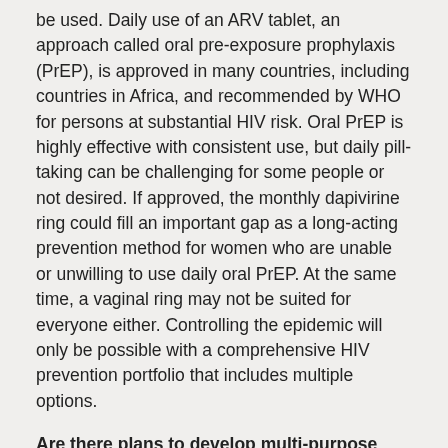be used. Daily use of an ARV tablet, an approach called oral pre-exposure prophylaxis (PrEP), is approved in many countries, including countries in Africa, and recommended by WHO for persons at substantial HIV risk. Oral PrEP is highly effective with consistent use, but daily pill-taking can be challenging for some people or not desired. If approved, the monthly dapivirine ring could fill an important gap as a long-acting prevention method for women who are unable or unwilling to use daily oral PrEP. At the same time, a vaginal ring may not be suited for everyone either. Controlling the epidemic will only be possible with a comprehensive HIV prevention portfolio that includes multiple options.
Are there plans to develop multi-purpose rings and 90-day rings?
While a ring used for a month at a time may appeal to some women, others may prefer that the